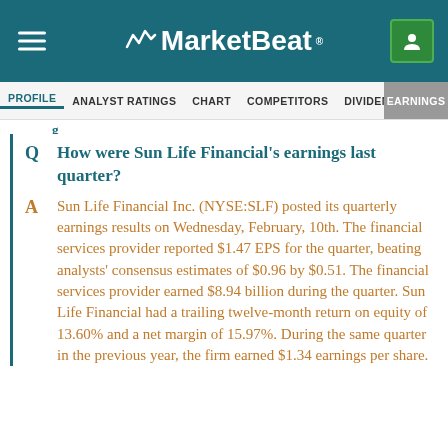MarketBeat
PROFILE   ANALYST RATINGS   CHART   COMPETITORS   DIVIDEND   EARNINGS
How were Sun Life Financial's earnings last quarter?
Sun Life Financial Inc. (NYSE:SLF) posted its quarterly earnings results on Wednesday, February, 10th. The financial services provider reported $1.47 EPS for the quarter, beating analysts' consensus estimates of $0.96 by $0.51. The financial services provider earned $8.94 billion during the quarter. Sun Life Financial had a trailing twelve-month return on equity of 13.60% and a net margin of 15.97%. During the same quarter in the previous year, the firm earned $1.34 earnings per share.